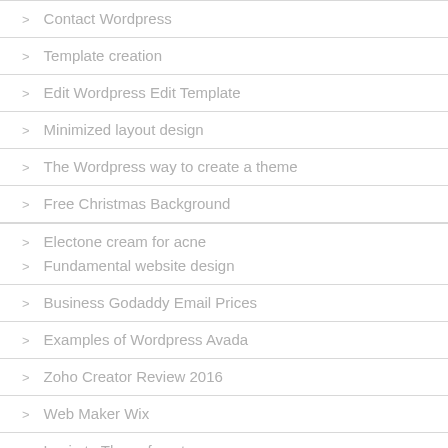Contact Wordpress
Template creation
Edit Wordpress Edit Template
Minimized layout design
The Wordpress way to create a theme
Free Christmas Background
Electone cream for acne
Fundamental website design
Business Godaddy Email Prices
Examples of Wordpress Avada
Zoho Creator Review 2016
Web Maker Wix
Login to Themeforest
Watsap
Adding downloaded design to Wordpress